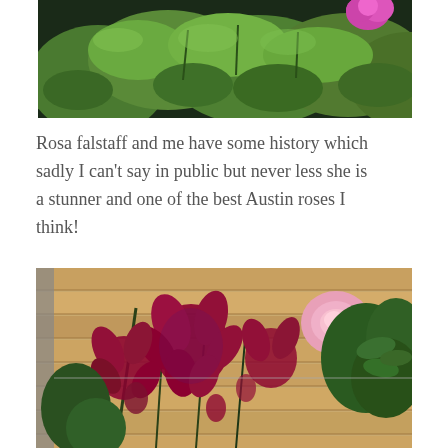[Figure (photo): Close-up photograph of green leafy garden shrub with a bright pink/magenta flower visible in the upper right corner against a dark background.]
Rosa falstaff and me have some history which sadly I can't say in public but never less she is a stunner and one of the best Austin roses I think!
[Figure (photo): Photograph of dark red/crimson clematis flowers with purple tones climbing against a wooden fence panel, with a pink rose visible in the background and green foliage.]